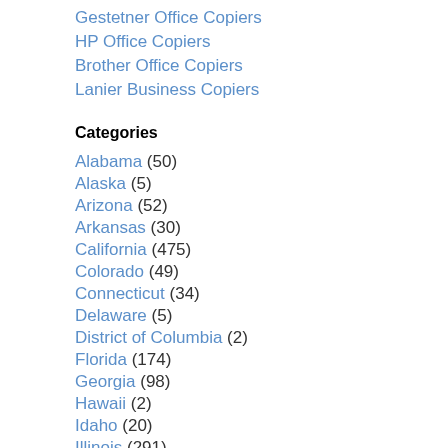Gestetner Office Copiers
HP Office Copiers
Brother Office Copiers
Lanier Business Copiers
Categories
Alabama (50)
Alaska (5)
Arizona (52)
Arkansas (30)
California (475)
Colorado (49)
Connecticut (34)
Delaware (5)
District of Columbia (2)
Florida (174)
Georgia (98)
Hawaii (2)
Idaho (20)
Illinois (291)
Indiana (67)